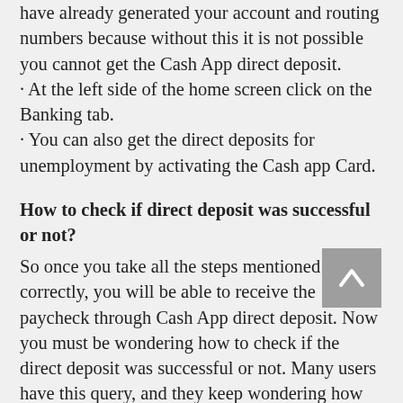have already generated your account and routing numbers because without this it is not possible you cannot get the Cash App direct deposit.
· At the left side of the home screen click on the Banking tab.
· You can also get the direct deposits for unemployment by activating the Cash app Card.
How to check if direct deposit was successful or not?
So once you take all the steps mentioned above correctly, you will be able to receive the paycheck through Cash App direct deposit. Now you must be wondering how to check if the direct deposit was successful or not. Many users have this query, and they keep wondering how to check Cash App direct deposit status.
So even after you've successfully received or sent direct deposits. You must know how to check if direct deposit went